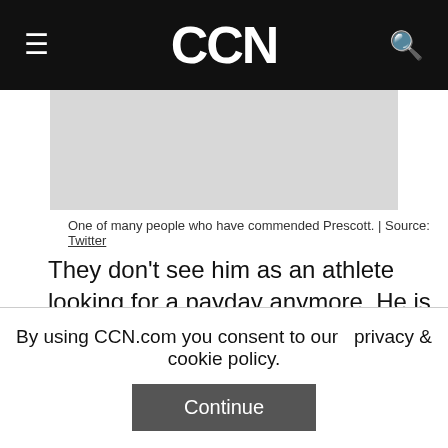CCN
[Figure (photo): Gray image placeholder area representing a photo related to the article]
One of many people who have commended Prescott. | Source: Twitter
They don't see him as an athlete looking for a payday anymore. He is a leader they can relate to, someone they want to rally behind and support. He has become something that Jerry Jones has never been—the kind of leader America's Team needs.
Couple that with a successful season, including a
By using CCN.com you consent to our  privacy & cookie policy.
Continue